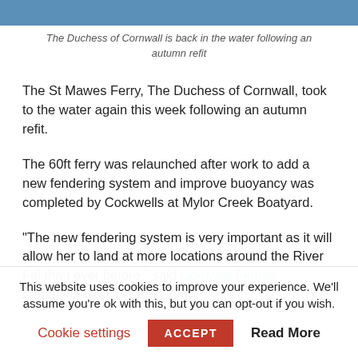[Figure (photo): Top edge of photo showing blue hull of The Duchess of Cornwall ferry]
The Duchess of Cornwall is back in the water following an autumn refit
The St Mawes Ferry, The Duchess of Cornwall, took to the water again this week following an autumn refit.
The 60ft ferry was relaunched after work to add a new fendering system and improve buoyancy was completed by Cockwells at Mylor Creek Boatyard.
“The new fendering system is very important as it will allow her to land at more locations around the River Fal than ever before,” said Cornwall Ferries managing director, Tim Light.
This website uses cookies to improve your experience. We’ll assume you’re ok with this, but you can opt-out if you wish.
Cookie settings   ACCEPT   Read More